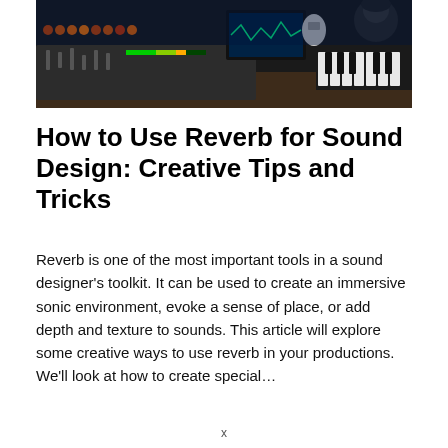[Figure (photo): Person working at a music production studio with keyboards, synthesizers, mixing board, and computer equipment visible. The scene is lit with colored lights from the equipment panels.]
How to Use Reverb for Sound Design: Creative Tips and Tricks
Reverb is one of the most important tools in a sound designer’s toolkit. It can be used to create an immersive sonic environment, evoke a sense of place, or add depth and texture to sounds. This article will explore some creative ways to use reverb in your productions. We’ll look at how to create special…
x